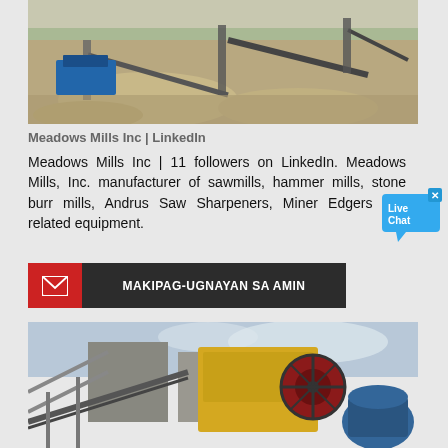[Figure (photo): Aerial view of a quarry/mining site with conveyors, stockpiles of crushed stone, and heavy equipment against a flat landscape.]
Meadows Mills Inc | LinkedIn
Meadows Mills Inc | 11 followers on LinkedIn. Meadows Mills, Inc. manufacturer of sawmills, hammer mills, stone burr mills, Andrus Saw Sharpeners, Miner Edgers and related equipment.
[Figure (infographic): Contact button: red icon section with envelope icon on left, dark gray section with text MAKIPAG-UGNAYAN SA AMIN on right.]
[Figure (photo): Close-up of industrial crushing/milling equipment — yellow jaw crusher and blue motor on a construction site with cloudy sky.]